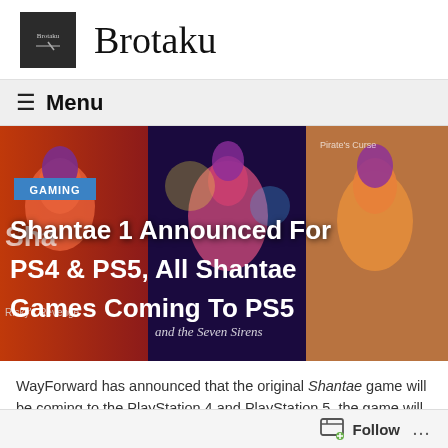Brotaku
≡ Menu
[Figure (screenshot): Hero image showing multiple Shantae game cover art panels side by side with colorful animated game characters. A blue 'GAMING' badge is overlaid, and a large white bold headline reads: 'Shantae 1 Announced For PS4 & PS5, All Shantae Games Coming To PS5']
WayForward has announced that the original Shantae game will be coming to the PlayStation 4 and PlayStation 5, the game will be available on the consoles “soon”. WayForward also confirmed that